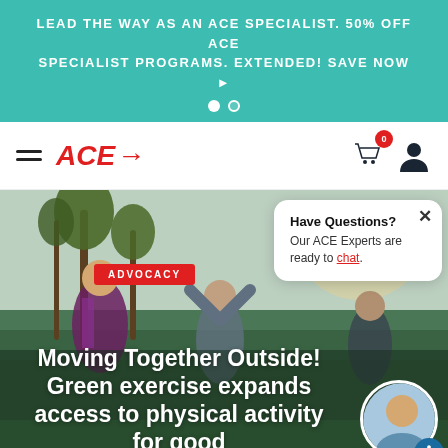LEAD THE WAY AS AN ACE SPECIALIST. 50% OFF ACE SPECIALIST PROGRAMS. EXTENDED! SAVE NOW ▶
[Figure (screenshot): ACE website navigation bar with hamburger menu, ACE logo with arrow, cart icon with badge showing 0, and user profile icon]
[Figure (photo): Hero image showing older adults exercising outdoors near palm trees, with ADVOCACY pill label and title text overlay. A chat popup says Have Questions? Our ACE Experts are ready to chat. An author avatar circle appears in the lower right.]
Moving Together Outside! Green exercise expands access to physical activity for good